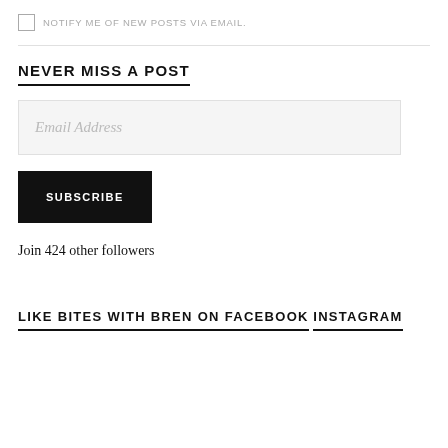NOTIFY ME OF NEW POSTS VIA EMAIL.
NEVER MISS A POST
Email Address
SUBSCRIBE
Join 424 other followers
LIKE BITES WITH BREN ON FACEBOOK
INSTAGRAM